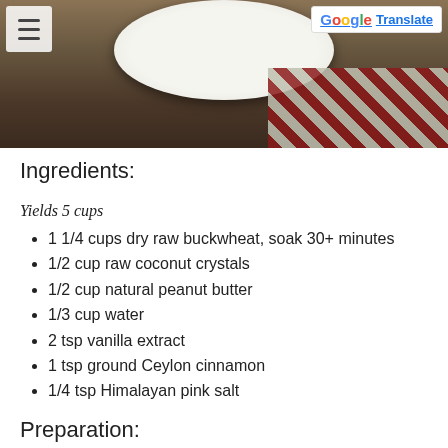[Figure (photo): Top portion of a food photo showing a white plate/bowl on a wooden surface with a red and cream plaid cloth napkin, partially cropped]
Ingredients:
Yields 5 cups
1 1/4 cups dry raw buckwheat, soak 30+ minutes
1/2 cup raw coconut crystals
1/2 cup natural peanut butter
1/3 cup water
2 tsp vanilla extract
1 tsp ground Ceylon cinnamon
1/4 tsp Himalayan pink salt
Preparation:
1. After soaking the buckwheat, rinse until the water